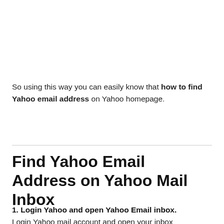So using this way you can easily know that how to find Yahoo email address on Yahoo homepage.
Find Yahoo Email Address on Yahoo Mail Inbox
1. Login Yahoo and open Yahoo Email inbox.
Login Yahoo mail account and open your inbox